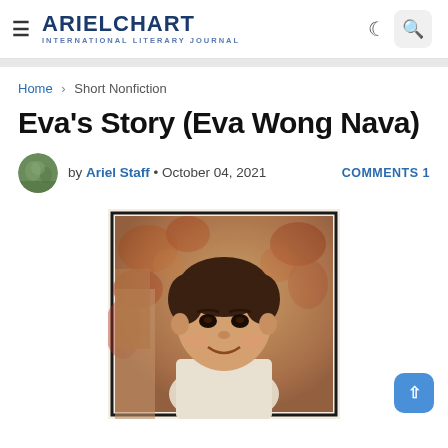ARIELCHART INTERNATIONAL LITERARY JOURNAL
Home > Short Nonfiction
Eva's Story (Eva Wong Nava)
by Ariel Staff • October 04, 2021   COMMENTS 1
[Figure (photo): Vintage photograph of a young Asian child smiling, with a colorful patterned background, in an old photo with white border]